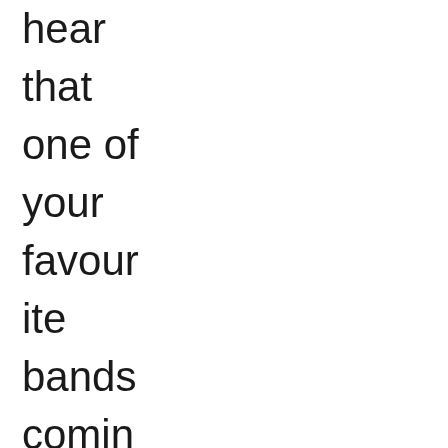hear that one of your favourite bands coming back with a new album after a long time. I'm talking about idi